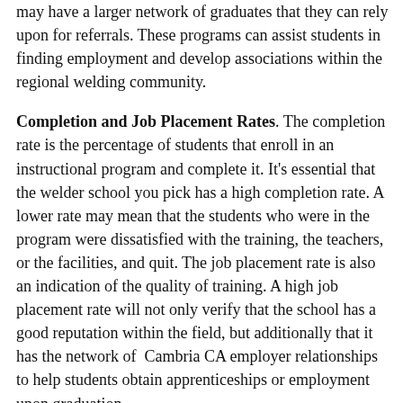may have a larger network of graduates that they can rely upon for referrals. These programs can assist students in finding employment and develop associations within the regional welding community.
Completion and Job Placement Rates. The completion rate is the percentage of students that enroll in an instructional program and complete it. It's essential that the welder school you pick has a high completion rate. A lower rate may mean that the students who were in the program were dissatisfied with the training, the teachers, or the facilities, and quit. The job placement rate is also an indication of the quality of training. A high job placement rate will not only verify that the school has a good reputation within the field, but additionally that it has the network of Cambria CA employer relationships to help students obtain apprenticeships or employment upon graduation.
Up to date Equipment and Facilities. Some schools